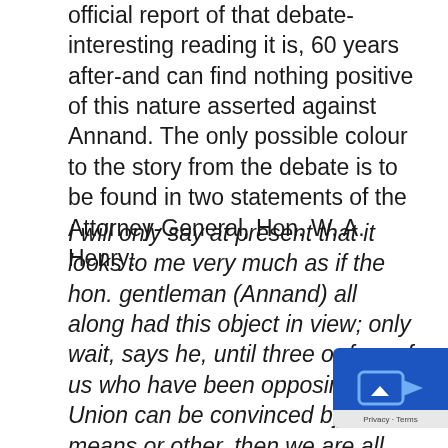official report of that debate-interesting reading it is, 60 years after-and can find nothing positive of this nature asserted against Annand. The only possible colour to the story from the debate is to be found in two statements of the Attorney-General, Hon. W. A. Henry:
I will only say at present that it looks to me very much as if the hon. gentleman (Annand) all along had this object in view; only wait, says he, until three or four of us who have been opposing Union can be convinced by some means or other, then we are all right. That is the substance of the hon. member's remarks. If two or three gentlemen could be induced to assist the friends of Union, then there will be no difficulty about a reference to the people.